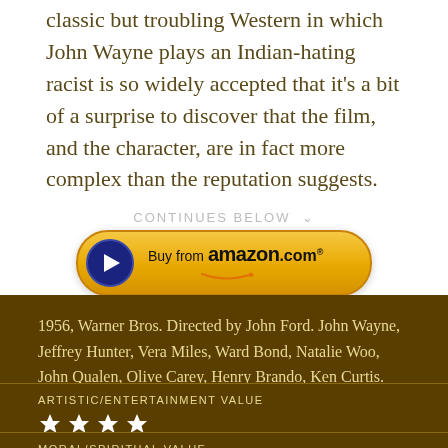classic but troubling Western in which John Wayne plays an Indian-hating racist is so widely accepted that it's a bit of a surprise to discover that the film, and the character, are in fact more complex than the reputation suggests.
CONTINUES BELOW ∨
[Figure (other): Buy from amazon.com button with blue play circle icon and gold gradient pill shape]
1956, Warner Bros. Directed by John Ford. John Wayne, Jeffrey Hunter, Vera Miles, Ward Bond, Natalie Woo, John Qualen, Olive Carey, Henry Brando, Ken Curtis.
ARTISTIC/ENTERTAINMENT VALUE
[Figure (other): Four white stars rating]
MORAL/SPIRITUAL VALUE